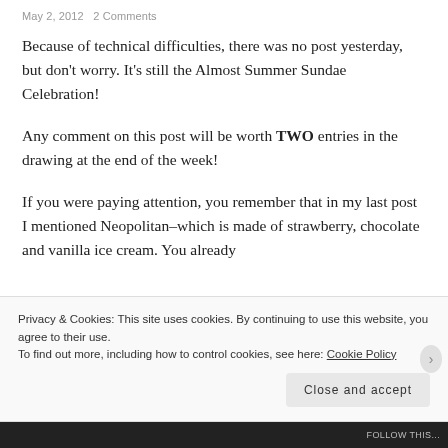May 2, 2012   2 Comments
Because of technical difficulties, there was no post yesterday, but don't worry. It's still the Almost Summer Sundae Celebration!
Any comment on this post will be worth TWO entries in the drawing at the end of the week!
If you were paying attention, you remember that in my last post I mentioned Neopolitan–which is made of strawberry, chocolate and vanilla ice cream. You already
Privacy & Cookies: This site uses cookies. By continuing to use this website, you agree to their use.
To find out more, including how to control cookies, see here: Cookie Policy
Close and accept